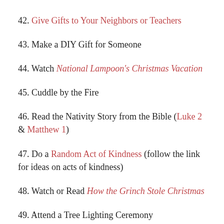42. Give Gifts to Your Neighbors or Teachers
43. Make a DIY Gift for Someone
44. Watch National Lampoon's Christmas Vacation
45. Cuddle by the Fire
46. Read the Nativity Story from the Bible (Luke 2 & Matthew 1)
47. Do a Random Act of Kindness (follow the link for ideas on acts of kindness)
48. Watch or Read How the Grinch Stole Christmas
49. Attend a Tree Lighting Ceremony
50. Watch or read A Christmas Carol